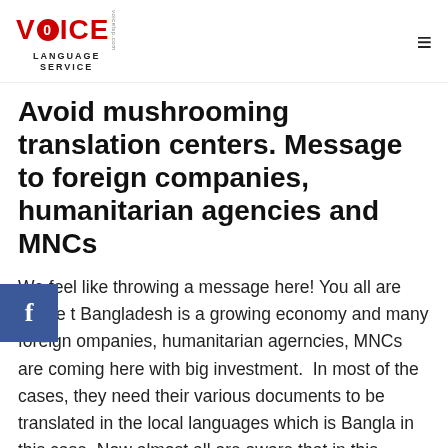VOICE LANGUAGE SERVICE — voicelsp.com
Avoid mushrooming translation centers. Message to foreign companies, humanitarian agencies and MNCs
We feel like throwing a message here! You all are aware that Bangladesh is a growing economy and many foreign companies, humanitarian agerncies, MNCs are coming here with big investment. In most of the cases, they need their various documents to be translated in the local languages which is Bangla in this case. Now almost all are aware that in this advanced age of communication technology, there are machine translation, CAT, MAT translation, google, bing etc by which a language can be converted with blink of eyes so to say, but machine translation is not yet able to give you the input quality of